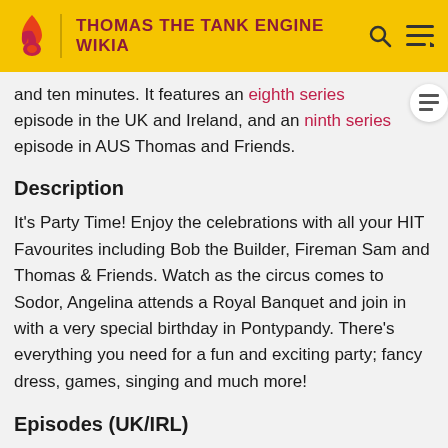THOMAS THE TANK ENGINE WIKIA
and ten minutes. It features an eighth series episode in the UK and Ireland, and an ninth series episode in AUS Thomas and Friends.
Description
It's Party Time! Enjoy the celebrations with all your HIT Favourites including Bob the Builder, Fireman Sam and Thomas & Friends. Watch as the circus comes to Sodor, Angelina attends a Royal Banquet and join in with a very special birthday in Pontypandy. There's everything you need for a fun and exciting party; fancy dress, games, singing and much more!
Episodes (UK/IRL)